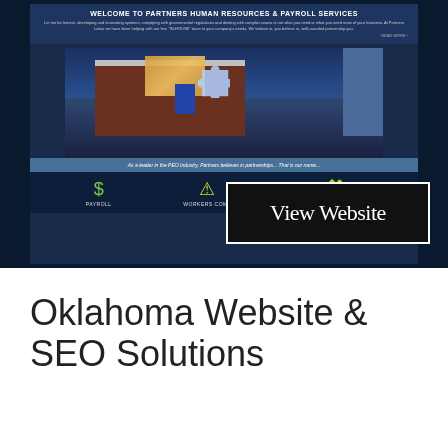[Figure (screenshot): Screenshot of Partners Human Resources & Payroll Services website showing header text, building photo, and service icons for Payroll, Workers Comp, and Human Resources]
View Website
Oklahoma Website & SEO Solutions